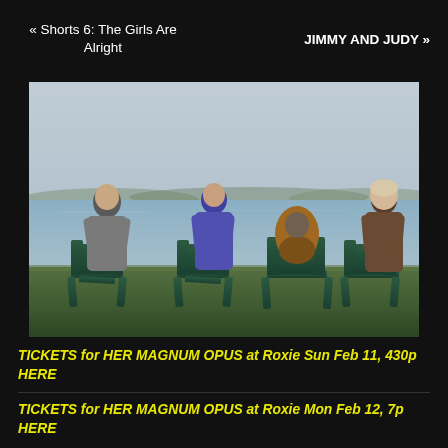« Shorts 6: The Girls Are Alright    JIMMY AND JUDY »
[Figure (photo): Four people standing/sitting by a lakeside with green Adirondack chairs, viewed from behind, on a cloudy day with water and hills in the background.]
TICKETS for HER MAGNUM OPUS at Roxie Sun Feb 11, 430p HERE
TICKETS for HER MAGNUM OPUS at Roxie Mon Feb 12, 7p HERE